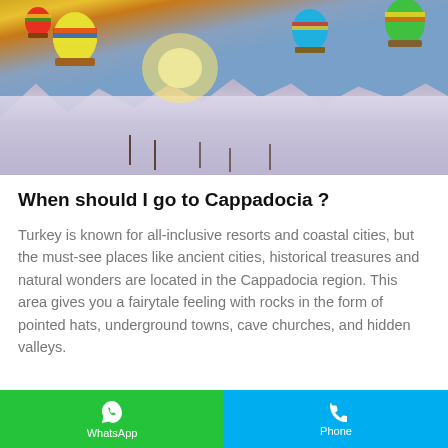[Figure (photo): Aerial photograph of Cappadocia, Turkey, showing snow-covered rocky landscape with tall fairy chimney rock formations, bare trees in the valley below, and colorful hot air balloons flying in a dramatic sky with golden sunlight breaking through clouds.]
When should I go to Cappadocia ?
Turkey is known for all-inclusive resorts and coastal cities, but the must-see places like ancient cities, historical treasures and natural wonders are located in the Cappadocia region. This area gives you a fairytale feeling with rocks in the form of pointed hats, underground towns, cave churches, and hidden valleys.
WhatsApp   Phone